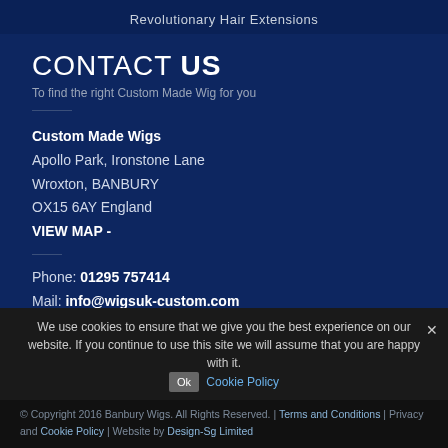Revolutionary Hair Extensions
CONTACT US
To find the right Custom Made Wig for you
Custom Made Wigs
Apollo Park, Ironstone Lane
Wroxton, BANBURY
OX15 6AY England
VIEW MAP -
Phone: 01295 757414
Mail: info@wigsuk-custom.com
Web: www.wigsuk-custom.com
We use cookies to ensure that we give you the best experience on our website. If you continue to use this site we will assume that you are happy with it.
© Copyright 2016 Banbury Wigs. All Rights Reserved. | Terms and Conditions | Privacy and Cookie Policy | Website by Design-Sg Limited